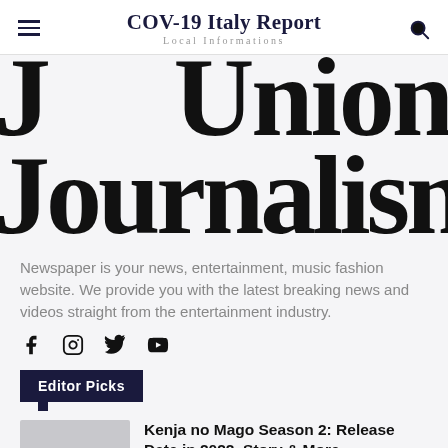COV-19 Italy Report
Local Informations
[Figure (illustration): Large bold decorative typography showing 'Union Journalism' in an oversized serif font filling the image area]
Newspaper is your news, entertainment, music fashion website. We provide you with the latest breaking news and videos straight from the entertainment industry.
[Figure (infographic): Social media icons: Facebook, Instagram, Twitter, YouTube]
Editor Picks
Kenja no Mago Season 2: Release Date in 2022, Story & More
Animated   May 28, 2022